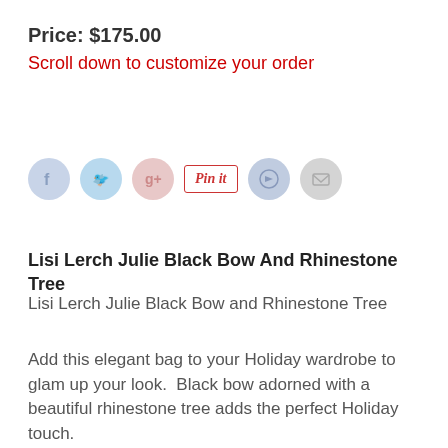Price: $175.00
Scroll down to customize your order
[Figure (other): Social sharing icons row: Facebook, Twitter, Google+, Pinterest Pin It button, an arrow/share icon, and email icon]
Lisi Lerch Julie Black Bow And Rhinestone Tree
Lisi Lerch Julie Black Bow and Rhinestone Tree
Add this elegant bag to your Holiday wardrobe to glam up your look.  Black bow adorned with a beautiful rhinestone tree adds the perfect Holiday touch.